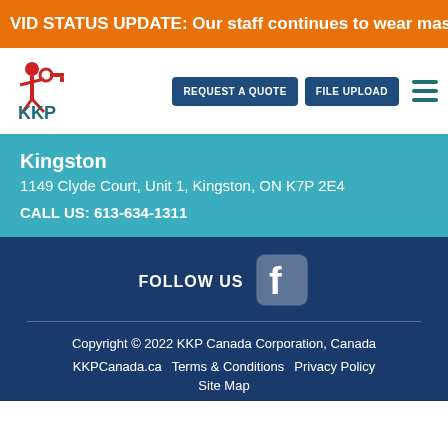VID STATUS UPDATE: Our staff continues to wear masks for every
[Figure (logo): KKP (Kwik Kopy Printing) logo with red figure and key graphic, teal text]
REQUEST A QUOTE
FILE UPLOAD
Kingston
1149 Clyde Court, Unit 1, Kingston, ON K7P 2E4

CALL US: 613-634-1311
FOLLOW US
[Figure (logo): Facebook logo icon (white f on rounded square)]
Copyright © 2022 KKP Canada Corporation, Canada
KKPCanada.ca   Terms & Conditions   Privacy Policy
Site Map